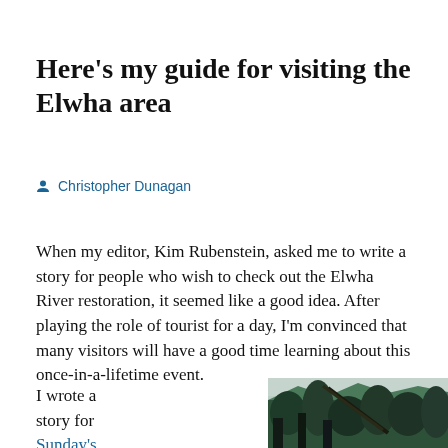Here's my guide for visiting the Elwha area
Christopher Dunagan
When my editor, Kim Rubenstein, asked me to write a story for people who wish to check out the Elwha River restoration, it seemed like a good idea. After playing the role of tourist for a day, I'm convinced that many visitors will have a good time learning about this once-in-a-lifetime event.
I wrote a story for Sunday's
[Figure (photo): Outdoor forest/nature scene along the Elwha River area, showing dense evergreen trees with branches against an overcast sky]